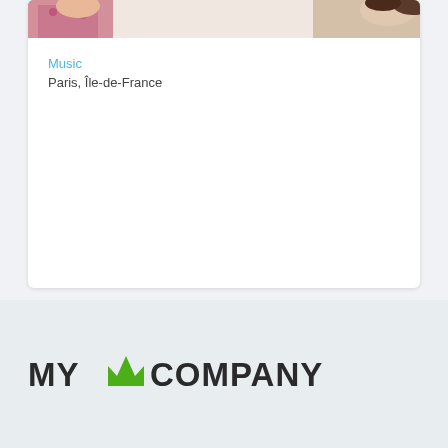[Figure (photo): Cropped photo of a person with dark hair, partially visible at top of card]
Music
Paris, Île-de-France
[Figure (bar-chart): Full green progress bar at 100%]
€100,000
on €100,000
funded on
Jan 24, 2012
[Figure (logo): MYCOMPANY logo with green crown icon between MY and COMPANY]